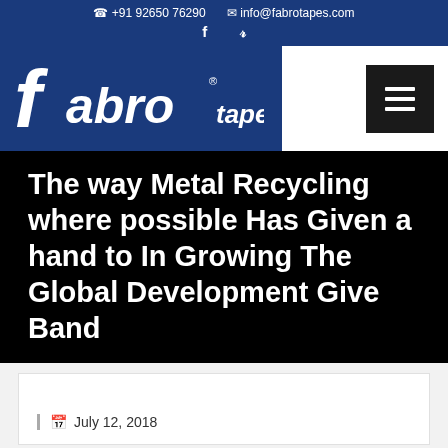+91 92650 76290   info@fabrotapes.com   f   y
[Figure (logo): Fabro Tapes logo — white text on blue background with italic styled lettering]
The way Metal Recycling where possible Has Given a hand to In Growing The Global Development Give Band
July 12, 2018